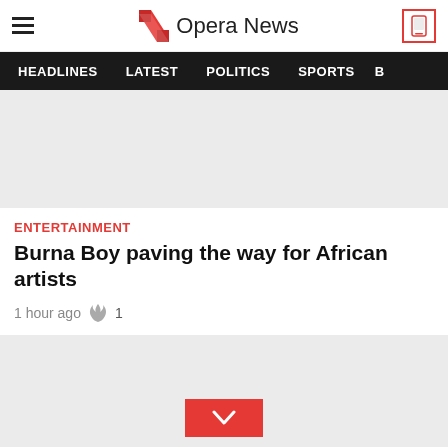Opera News
HEADLINES LATEST POLITICS SPORTS
[Figure (photo): Top article image placeholder (light gray)]
ENTERTAINMENT
Burna Boy paving the way for African artists
1 hour ago  1
[Figure (photo): Bottom article image placeholder with red chevron/expand button]